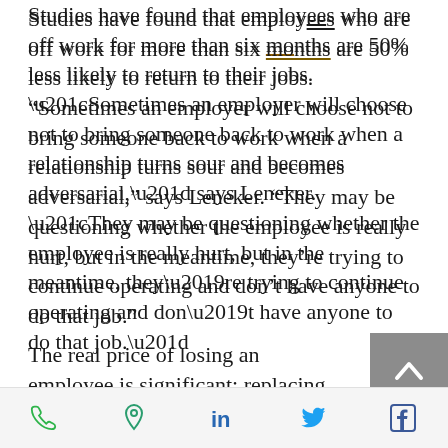Studies have found that employees who are off work for more than six months are 50% less likely to return to their jobs. “Sometimes an employer will choose not to bring someone back to work when a relationship turns sour and becomes adversarial,” says Leneker. “They may be questioning whether the employee is really hurt, but in the meantime, they’re trying to continue operating and don’t have anyone to do that job.”
The real price of losing an employee is significant: replacing them costs 1.5 times their salary, meaning that it would take $75,000 to replace someone who
[Figure (other): Back to top button - grey square with white upward chevron arrow]
Phone, Location, LinkedIn, Twitter, Facebook icons